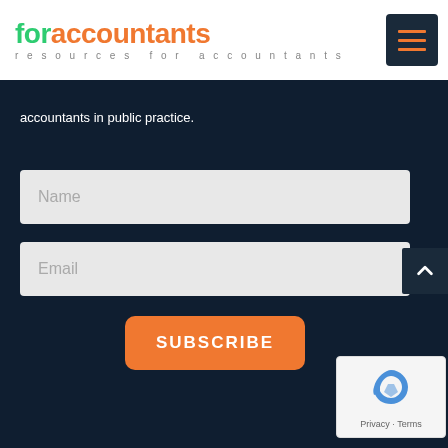[Figure (logo): Foraccountants logo with tagline 'resources for accountants'. 'for' in green, 'accountants' in orange. Hamburger menu button top right.]
accountants in public practice.
Name
Email
SUBSCRIBE
[Figure (other): reCAPTCHA badge with privacy and terms links]